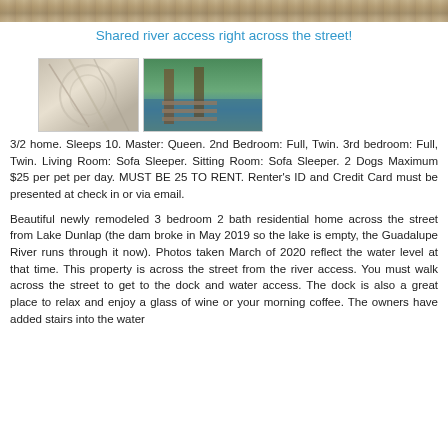[Figure (photo): Top banner photo showing wooden/natural texture background]
Shared river access right across the street!
[Figure (photo): Two thumbnail photos: left shows interior/tree view, right shows river dock/water access]
3/2 home. Sleeps 10. Master: Queen. 2nd Bedroom: Full, Twin. 3rd bedroom: Full, Twin. Living Room: Sofa Sleeper. Sitting Room: Sofa Sleeper. 2 Dogs Maximum $25 per pet per day. MUST BE 25 TO RENT. Renter's ID and Credit Card must be presented at check in or via email.
Beautiful newly remodeled 3 bedroom 2 bath residential home across the street from Lake Dunlap (the dam broke in May 2019 so the lake is empty, the Guadalupe River runs through it now). Photos taken March of 2020 reflect the water level at that time. This property is across the street from the river access. You must walk across the street to get to the dock and water access. The dock is also a great place to relax and enjoy a glass of wine or your morning coffee. The owners have added stairs into the water